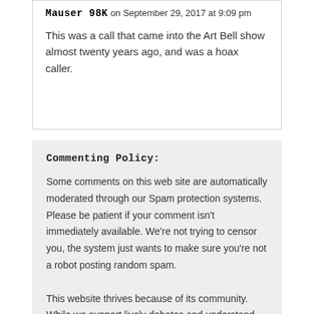Mauser 98K on September 29, 2017 at 9:09 pm
This was a call that came into the Art Bell show almost twenty years ago, and was a hoax caller.
Commenting Policy:
Some comments on this web site are automatically moderated through our Spam protection systems. Please be patient if your comment isn't immediately available. We're not trying to censor you, the system just wants to make sure you're not a robot posting random spam.
This website thrives because of its community. While we support lively debates and understand that people get